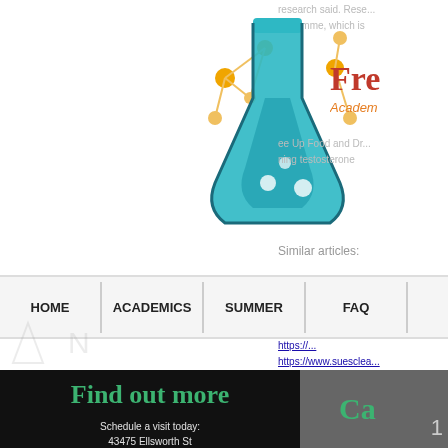[Figure (logo): Science/chemistry flask logo with molecular structure in teal and orange, with partial text 'Fre' in red and 'Academ' in orange]
research said. Research programme, which is Free Up Food and Dr... ning testosterone...
Similar articles:
[Figure (screenshot): Navigation bar with HOME, ACADEMICS, SUMMER, FAQ menu items]
https://www.suesclea...
Find out more
Schedule a visit today:
43475 Ellsworth St
Fremont, CA 94539
Ca